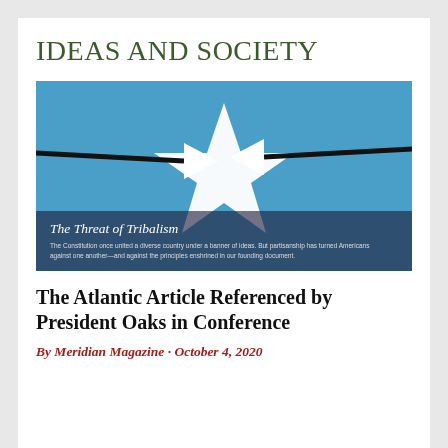IDEAS AND SOCIETY
[Figure (illustration): Blue background image with a large white star in the center and two white arrows pointing inward from left and right sides. Text at bottom reads 'The Threat of Tribalism' with subtitle 'The Constitution once united a diverse country under a banner of ideas. But partisanship has turned Americans against one another—and against the principles enshrined in our founding document.']
The Atlantic Article Referenced by President Oaks in Conference
By Meridian Magazine · October 4, 2020